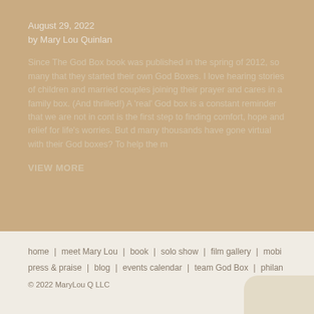August 29, 2022
by Mary Lou Quinlan
Since The God Box book was published in the spring of 2012, so many that they started their own God Boxes. I love hearing stories of children and married couples joining their prayer and cares in a family box. (And thrilled!) A 'real' God box is a constant reminder that we are not in cont is the first step to finding comfort, hope and relief for life's worries. But d many thousands have gone virtual with their God boxes? To help the m
VIEW MORE
home | meet Mary Lou | book | solo show | film gallery | mobi
press & praise | blog | events calendar | team God Box | philan
© 2022 MaryLou Q LLC